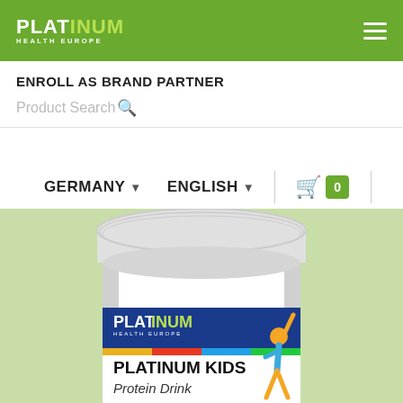PLATINUM HEALTH EUROPE
ENROLL AS BRAND PARTNER
Product Search
GERMANY  ENGLISH  0
[Figure (photo): Platinum Kids Protein Drink supplement container with Platinum Health Europe label, showing a child jumping, on a light green background]